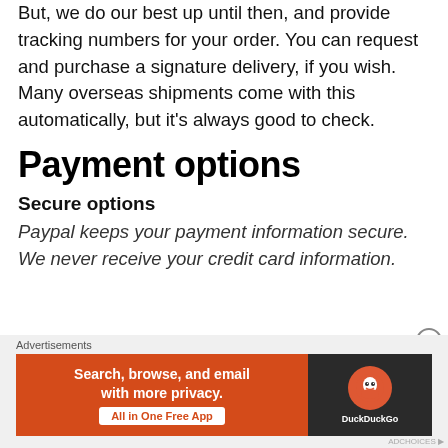But, we do our best up until then, and provide tracking numbers for your order. You can request and purchase a signature delivery, if you wish. Many overseas shipments come with this automatically, but it’s always good to check.
Payment options
Secure options
Paypal keeps your payment information secure. We never receive your credit card information.
[Figure (infographic): DuckDuckGo advertisement banner: orange left panel with text 'Search, browse, and email with more privacy. All in One Free App' and dark right panel with DuckDuckGo logo]